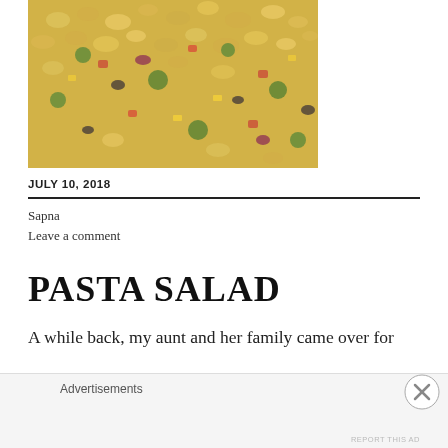[Figure (photo): Close-up photo of pasta salad with rotini pasta, colorful vegetables including broccoli, corn, red peppers, olives, and other toppings mixed together]
JULY 10, 2018
Sapna
Leave a comment
PASTA SALAD
A while back, my aunt and her family came over for
Advertisements